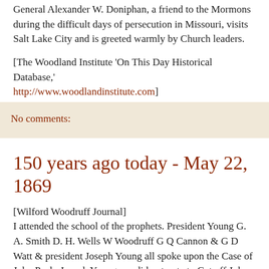General Alexander W. Doniphan, a friend to the Mormons during the difficult days of persecution in Missouri, visits Salt Lake City and is greeted warmly by Church leaders.
[The Woodland Institute 'On This Day Historical Database,' http://www.woodlandinstitute.com]
No comments:
150 years ago today - May 22, 1869
[Wilford Woodruff Journal]
I attended the school of the prophets. President Young G. A. Smith D. H. Wells W Woodruff G Q Cannon & G D Watt & president Joseph Young all spoke upon the Case of John Pack. Joseph Young sen did not vote to Cut off John Pack with th[e?] [rest]. Presidet B Young said that inasmuch as he did not vote that Cut the thread of union between those who did vote & him. (He required ie